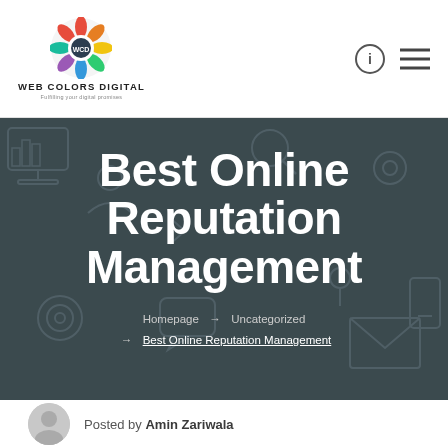Web Colors Digital — logo and navigation header
Best Online Reputation Management
Homepage → Uncategorized → Best Online Reputation Management
Posted by Amin Zariwala